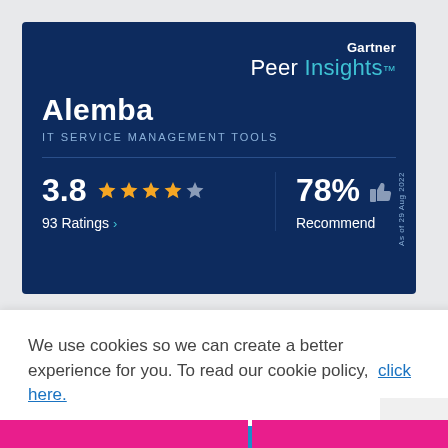[Figure (infographic): Gartner Peer Insights badge for Alemba - IT Service Management Tools. Shows rating 3.8 out of 5 stars (4 filled, 1 partial), 93 Ratings, 78% Recommend with thumbs up icon. As of 29 Aug 2022.]
heir own
We use cookies so we can create a better experience for you. To read our cookie policy, click here.
S. and
GOT IT